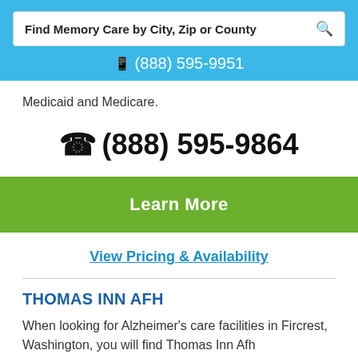Find Memory Care by City, Zip or County
(888) 595-9951
Medicaid and Medicare.
(888) 595-9864
Learn More
View Pricing & Availability
THOMAS INN AFH
When looking for Alzheimer's care facilities in Fircrest, Washington, you will find Thomas Inn Afh